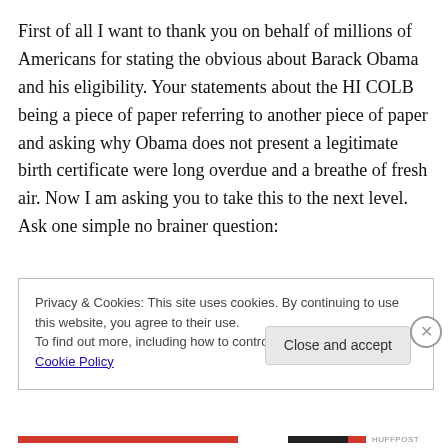First of all I want to thank you on behalf of millions of Americans for stating the obvious about Barack Obama and his eligibility. Your statements about the HI COLB being a piece of paper referring to another piece of paper and asking why Obama does not present a legitimate birth certificate were long overdue and a breathe of fresh air. Now I am asking you to take this to the next level. Ask one simple no brainer question:
Privacy & Cookies: This site uses cookies. By continuing to use this website, you agree to their use. To find out more, including how to control cookies, see here: Cookie Policy